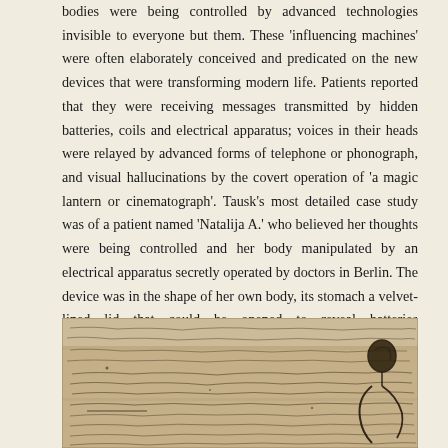bodies were being controlled by advanced technologies invisible to everyone but them. These 'influencing machines' were often elaborately conceived and predicated on the new devices that were transforming modern life. Patients reported that they were receiving messages transmitted by hidden batteries, coils and electrical apparatus; voices in their heads were relayed by advanced forms of telephone or phonograph, and visual hallucinations by the covert operation of 'a magic lantern or cinematograph'. Tausk's most detailed case study was of a patient named 'Natalija A.' who believed her thoughts were being controlled and her body manipulated by an electrical apparatus secretly operated by doctors in Berlin. The device was in the shape of her own body, its stomach a velvet-lined lid that could be opened to reveal batteries corresponding to her internal organs.
[Figure (photo): Photograph of handwritten manuscript pages with old script writing, appearing to be historical documents with a dark drawn figure visible on the right side]